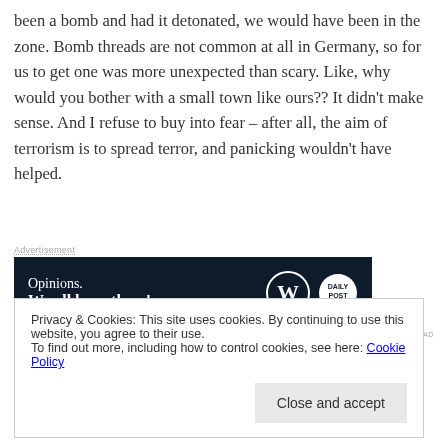been a bomb and had it detonated, we would have been in the zone. Bomb threads are not common at all in Germany, so for us to get one was more unexpected than scary. Like, why would you bother with a small town like ours?? It didn’t make sense. And I refuse to buy into fear – after all, the aim of terrorism is to spread terror, and panicking wouldn’t have helped.
[Figure (infographic): Advertisement banner: dark navy background with text 'Opinions. We all have them!' and WordPress logo plus another circular logo on the right.]
If we were having coffee today, I’d tell you that my new
Privacy & Cookies: This site uses cookies. By continuing to use this website, you agree to their use.
To find out more, including how to control cookies, see here: Cookie Policy
and I’m a bit overwhelmed by it all. It makes a nice change